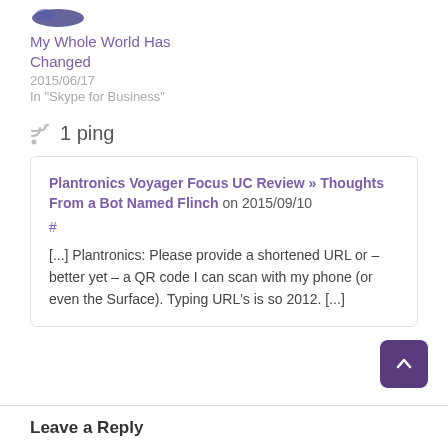[Figure (illustration): Partial view of a logo or image at the top of the page, partially cropped.]
My Whole World Has Changed
2015/06/17
In "Skype for Business"
1 ping
Plantronics Voyager Focus UC Review » Thoughts From a Bot Named Flinch on 2015/09/10
#
[...] Plantronics: Please provide a shortened URL or – better yet – a QR code I can scan with my phone (or even the Surface). Typing URL's is so 2012. [...]
Leave a Reply